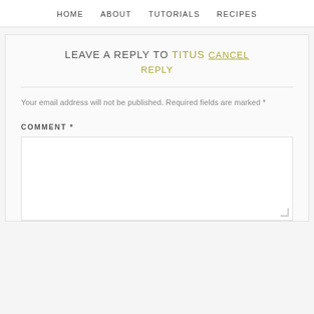HOME   ABOUT   TUTORIALS   RECIPES
LEAVE A REPLY TO TITUS CANCEL REPLY
Your email address will not be published. Required fields are marked *
COMMENT *